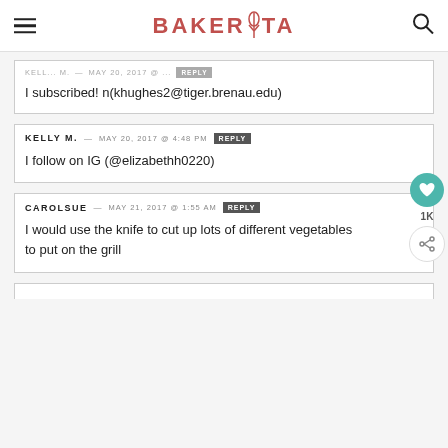BAKERITA
I subscribed! n(khughes2@tiger.brenau.edu)
KELLY M. — MAY 20, 2017 @ 4:48 PM
I follow on IG (@elizabethh0220)
CAROLSUE — MAY 21, 2017 @ 1:55 AM
I would use the knife to cut up lots of different vegetables to put on the grill